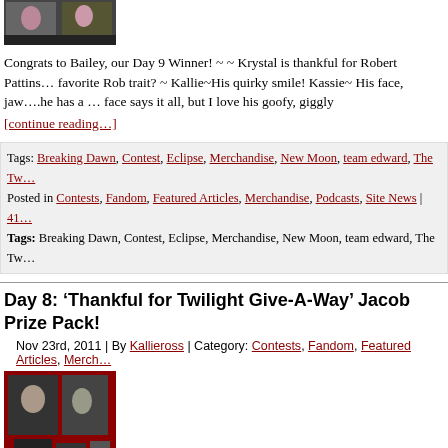[Figure (photo): Photo of Twilight characters, partial crop at top of page]
Congrats to Bailey, our Day 9 Winner! ~ ~ Krystal is thankful for Robert Pattins... favorite Rob trait? ~ Kallie~His quirky smile! Kassie~ His face, jaw....he has a ... face says it all, but I love his goofy, giggly
[continue reading...]
| Tags: Breaking Dawn, Contest, Eclipse, Merchandise, New Moon, team edward, The Tw... |
| Posted in Contests, Fandom, Featured Articles, Merchandise, Podcasts, Site News | 41... |
| Tags: Breaking Dawn, Contest, Eclipse, Merchandise, New Moon, team edward, The Tw... |
Day 8: ‘Thankful for Twilight Give-A-Way’ Jacob Prize Pack!
Nov 23rd, 2011 | By Kallieross | Category: Contests, Fandom, Featured Articles, Merch...
[Figure (photo): Photo of Twilight Jacob merchandise prize pack items on red background]
Congrats to our winner Lina! ~ Today Kassie is thankful that they cast Taylor L...